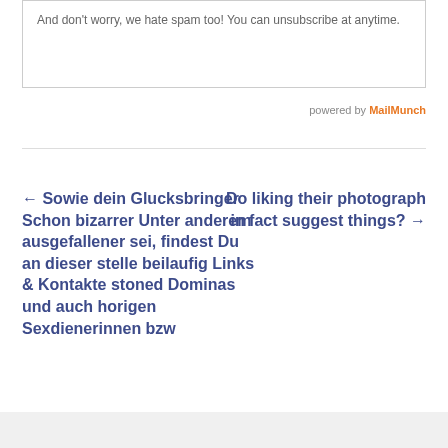And don't worry, we hate spam too! You can unsubscribe at anytime.
powered by MailMunch
← Sowie dein Glucksbringer Schon bizarrer Unter anderem ausgefallener sei, findest Du an dieser stelle beilaufig Links & Kontakte stoned Dominas und auch horigen Sexdienerinnen bzw
Do liking their photograph in fact suggest things? →